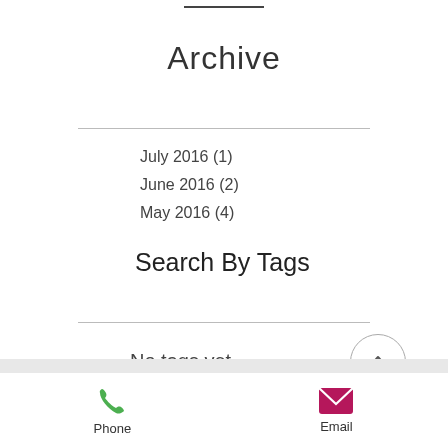Archive
July 2016 (1)
June 2016 (2)
May 2016 (4)
Search By Tags
No tags yet.
Phone   Email